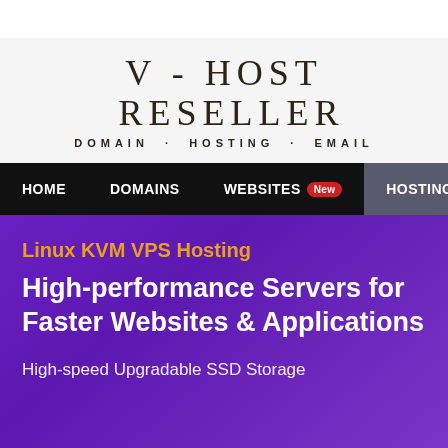[Figure (logo): V-HOST RESELLER logo with tagline DOMAIN · HOSTING · EMAIL]
HOME   DOMAINS   WEBSITES New   HOSTING   CLO
Linux KVM VPS Hosting
High-performance Servers for Faster Websites & Applications
High-speed Upgradable SSD Storage